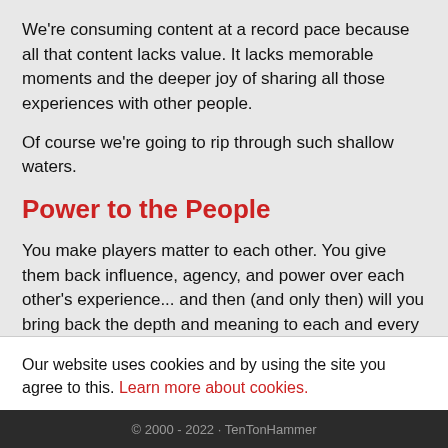We're consuming content at a record pace because all that content lacks value. It lacks memorable moments and the deeper joy of sharing all those experiences with other people.
Of course we're going to rip through such shallow waters.
Power to the People
You make players matter to each other. You give them back influence, agency, and power over each other's experience... and then (and only then) will you bring back the depth and meaning to each and every encounter. Sure, it won't always
Our website uses cookies and by using the site you agree to this. Learn more about cookies.
Close
© 2000 - 2022 · TenTonHammer